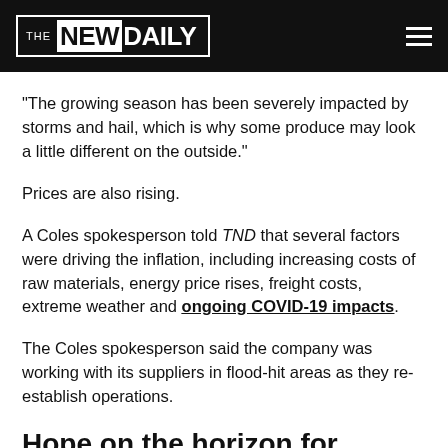THE NEW DAILY
“The growing season has been severely impacted by storms and hail, which is why some produce may look a little different on the outside.”
Prices are also rising.
A Coles spokesperson told TND that several factors were driving the inflation, including increasing costs of raw materials, energy price rises, freight costs, extreme weather and ongoing COVID-19 impacts.
The Coles spokesperson said the company was working with its suppliers in flood-hit areas as they re-establish operations.
Hope on the horizon for supermarket